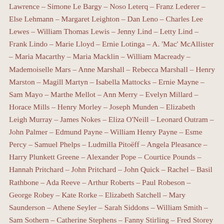Lawrence – Simone Le Bargy – Noso Leterq – Franz Lederer – Else Lehmann – Margaret Leighton – Dan Leno – Charles Lee Lewes – William Thomas Lewis – Jenny Lind – Letty Lind – Frank Lindo – Marie Lloyd – Ernie Lotinga – A. 'Mac' McAllister – Maria Macarthy – Maria Macklin – William Macready – Mademoiselle Mars – Anne Marshall – Rebecca Marshall – Henry Marston – Magill Martyn – Isabella Mattocks – Ernie Mayne – Sam Mayo – Marthe Mellot – Ann Merry – Evelyn Millard – Horace Mills – Henry Morley – Joseph Munden – Elizabeth Leigh Murray – James Nokes – Eliza O'Neill – Leonard Outram – John Palmer – Edmund Payne – William Henry Payne – Esme Percy – Samuel Phelps – Ludmilla Pitoëff – Angela Pleasance – Harry Plunkett Greene – Alexander Pope – Courtice Pounds – Hannah Pritchard – John Pritchard – John Quick – Rachel – Basil Rathbone – Ada Reeve – Arthur Roberts – Paul Robeson – George Robey – Kate Rorke – Elizabeth Satchell – Mary Saunderson – Athene Seyler – Sarah Siddons – William Smith – Sam Sothern – Catherine Stephens – Fanny Stirling – Fred Storey – Marie Taglioni – François-Joseph Talma – Marie Tempest – Ellaline